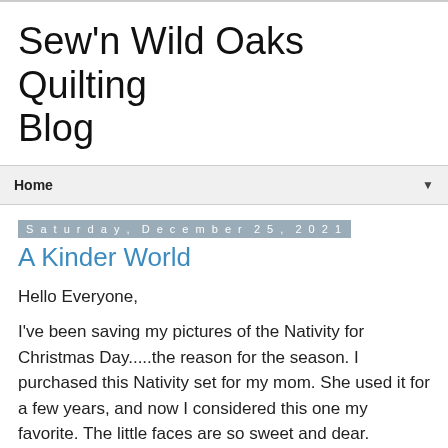Sew'n Wild Oaks Quilting Blog
Home
Saturday, December 25, 2021
A Kinder World
Hello Everyone,
I've been saving my pictures of the Nativity for Christmas Day.....the reason for the season.  I purchased this Nativity set for my mom.  She used it for a few years, and now I considered this one my favorite. The little faces are so sweet and dear.
[Figure (photo): Bottom of a Nativity scene photo, partially visible]